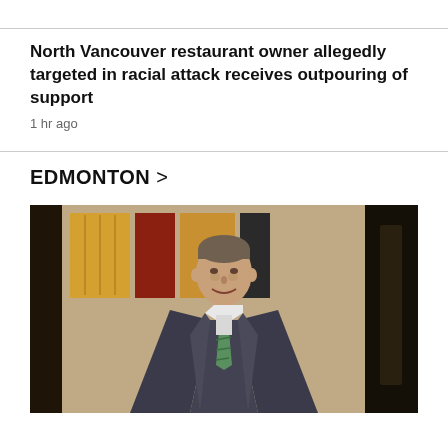North Vancouver restaurant owner allegedly targeted in racial attack receives outpouring of support
1 hr ago
EDMONTON >
[Figure (photo): A man in a dark suit with a green striped tie smiling, standing indoors against a wall with artwork in the background]